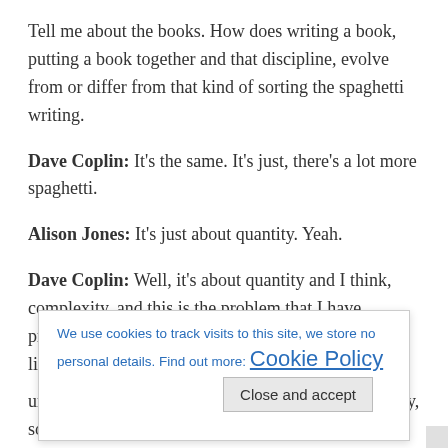Tell me about the books. How does writing a book, putting a book together and that discipline, evolve from or differ from that kind of sorting the spaghetti writing.
Dave Coplin: It's the same. It's just, there's a lot more spaghetti.
Alison Jones: It's just about quantity. Yeah.
Dave Coplin: Well, it's about quantity and I think, complexity, and this is the problem that I have practically with writing in a normal, busy life. Just like every single one of you has today, you know, when you're writing a book, for me, and I was trying to think of the right analogy and I haven't really found it, but it's kind of like, you've got o
[Figure (screenshot): Cookie consent banner overlay with text 'We use cookies to track visits to this site, we store no personal details. Find out more: Cookie Policy' and a 'Close and accept' button]
unpacked and laid out on the table, sort of cognitively, so I can see